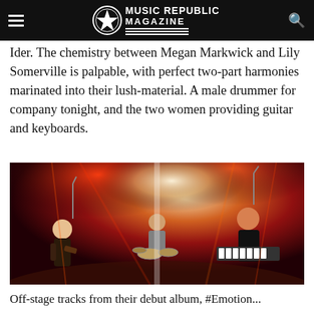Music Republic Magazine
Ider. The chemistry between Megan Markwick and Lily Somerville is palpable, with perfect two-part harmonies marinated into their lush-material. A male drummer for company tonight, and the two women providing guitar and keyboards.
[Figure (photo): Concert photo of Ider performing on stage. Two women performers are visible — one on the left playing guitar with long blonde hair, one on the right at a keyboard with red hair singing into a microphone. A male drummer is visible in the background center. Red and white stage lighting illuminates the scene dramatically.]
Off-stage tracks from their debut album, #Emotion...